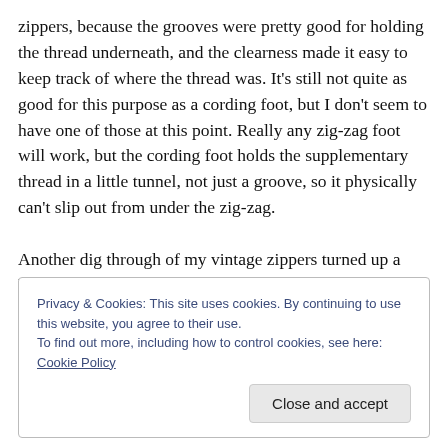zippers, because the grooves were pretty good for holding the thread underneath, and the clearness made it easy to keep track of where the thread was. It's still not quite as good for this purpose as a cording foot, but I don't seem to have one of those at this point. Really any zig-zag foot will work, but the cording foot holds the supplementary thread in a little tunnel, not just a groove, so it physically can't slip out from under the zig-zag.

Another dig through of my vintage zippers turned up a blue invisible zip in the suggested (14") length (plastic
Privacy & Cookies: This site uses cookies. By continuing to use this website, you agree to their use.
To find out more, including how to control cookies, see here: Cookie Policy
Close and accept